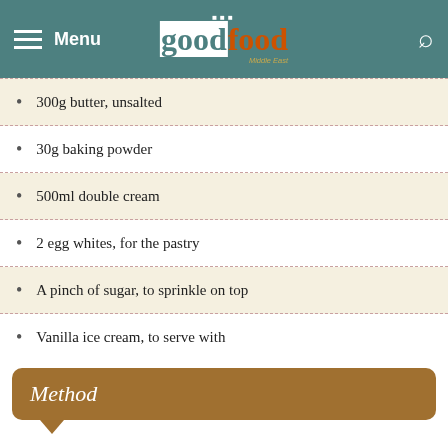BBC Good Food Middle East
300g butter, unsalted
30g baking powder
500ml double cream
2 egg whites, for the pastry
A pinch of sugar, to sprinkle on top
Vanilla ice cream, to serve with
Method
1. Peel and chop the apples.
2. In a saucepan, melt the butter and add the cinnamon.